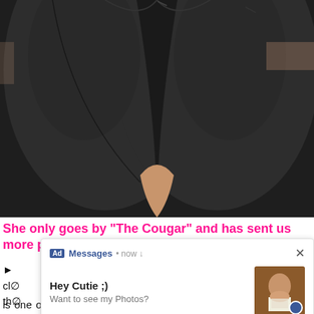[Figure (photo): Close-up photo of a person wearing tight dark/black leggings from behind]
She only goes by "The Cougar" and has sent us more pics than anyone else
[Figure (screenshot): Ad popup overlay showing Messages notification: 'Hey Cutie ;) Want to see my Photos?' with a thumbnail image]
ght clo oss the lity is one other factor that makes them appealing. They look casual and give the impression that you are putting on your favorite big booty lounge wear. You